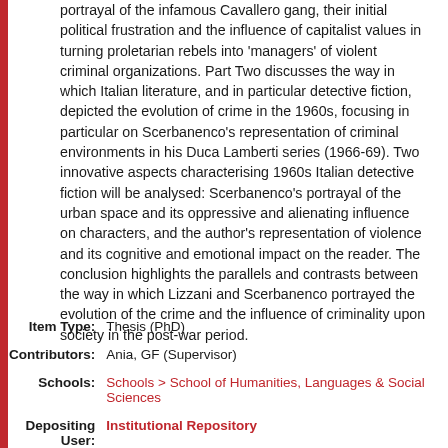portrayal of the infamous Cavallero gang, their initial political frustration and the influence of capitalist values in turning proletarian rebels into 'managers' of violent criminal organizations. Part Two discusses the way in which Italian literature, and in particular detective fiction, depicted the evolution of crime in the 1960s, focusing in particular on Scerbanenco's representation of criminal environments in his Duca Lamberti series (1966-69). Two innovative aspects characterising 1960s Italian detective fiction will be analysed: Scerbanenco's portrayal of the urban space and its oppressive and alienating influence on characters, and the author's representation of violence and its cognitive and emotional impact on the reader. The conclusion highlights the parallels and contrasts between the way in which Lizzani and Scerbanenco portrayed the evolution of the crime and the influence of criminality upon society in the post-war period.
| Item Type: | Thesis (PhD) |
| Contributors: | Ania, GF (Supervisor) |
| Schools: | Schools > School of Humanities, Languages & Social Sciences |
| Depositing User: | Institutional Repository |